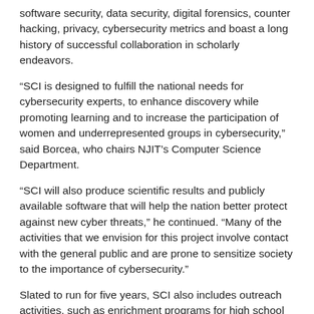software security, data security, digital forensics, counter hacking, privacy, cybersecurity metrics and boast a long history of successful collaboration in scholarly endeavors.
“SCI is designed to fulfill the national needs for cybersecurity experts, to enhance discovery while promoting learning and to increase the participation of women and underrepresented groups in cybersecurity,” said Borcea, who chairs NJIT’s Computer Science Department.
“SCI will also produce scientific results and publicly available software that will help the nation better protect against new cyber threats,” he continued. “Many of the activities that we envision for this project involve contact with the general public and are prone to sensitize society to the importance of cybersecurity.”
Slated to run for five years, SCI also includes outreach activities, such as enrichment programs for high school students and provides college students across the country with the opportunity to be trained, using a novel pedagogicalapproach to cybersecurity education—flexible curricula, experiential learning, research-based learning, multitier mentoring—to become a part of the cybersecurity workforce urgently needed to protect the